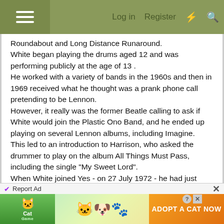≡   Log in   Register   ⚡   🔍
Roundabout and Long Distance Runaround.
White began playing the drums aged 12 and was performing publicly at the age of 13 .
He worked with a variety of bands in the 1960s and then in 1969 received what he thought was a prank phone call pretending to be Lennon.
However, it really was the former Beatle calling to ask if White would join the Plastic Ono Band, and he ended up playing on several Lennon albums, including Imagine.
This led to an introduction to Harrison, who asked the drummer to play on the album All Things Must Pass, including the single "My Sweet Lord".
When White joined Yes - on 27 July 1972 - he had just
[Figure (screenshot): Mobile game advertisement: Cat Game - Adopt a Cat Now]